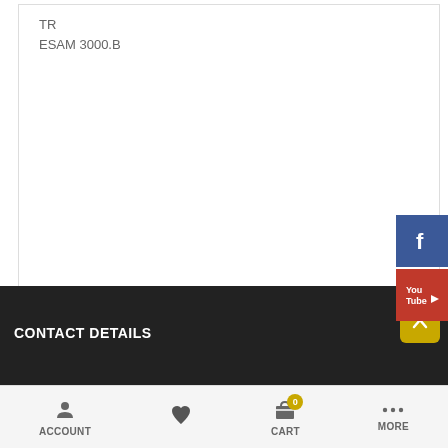TR
ESAM 3000.B
[Figure (logo): Facebook social media icon button (blue background with white 'f' logo)]
[Figure (logo): YouTube social media icon button (red background with white play button logo)]
CONTACT DETAILS
ACCOUNT  CART 0  MORE